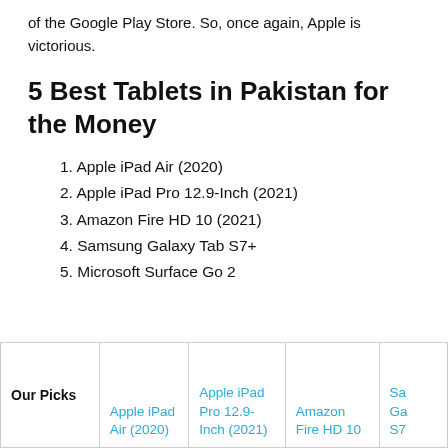of the Google Play Store. So, once again, Apple is victorious.
5 Best Tablets in Pakistan for the Money
1. Apple iPad Air (2020)
2. Apple iPad Pro 12.9-Inch (2021)
3. Amazon Fire HD 10 (2021)
4. Samsung Galaxy Tab S7+
5. Microsoft Surface Go 2
| Our Picks | Apple iPad Air (2020) | Apple iPad Pro 12.9-Inch (2021) | Amazon Fire HD 10 | Sa Ga S7 |
| --- | --- | --- | --- | --- |
| Our Picks | Apple iPad Air (2020) | Apple iPad Pro 12.9-Inch (2021) | Amazon Fire HD 10 | Sa Ga S7 |